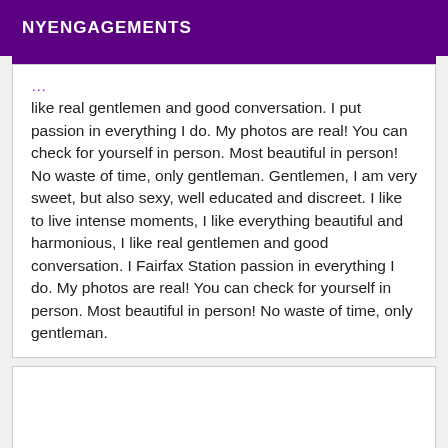NYENGAGEMENTS
like real gentlemen and good conversation. I put passion in everything I do. My photos are real! You can check for yourself in person. Most beautiful in person! No waste of time, only gentleman. Gentlemen, I am very sweet, but also sexy, well educated and discreet. I like to live intense moments, I like everything beautiful and harmonious, I like real gentlemen and good conversation. I Fairfax Station passion in everything I do. My photos are real! You can check for yourself in person. Most beautiful in person! No waste of time, only gentleman.
[Figure (other): Empty white card area below the text block]